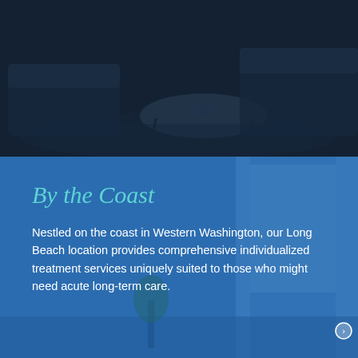[Figure (photo): Darkened interior photo of a living room with sofas, a round coffee table, and a rug, with a dark navy blue overlay]
LEARN MORE →
[Figure (photo): Blue-tinted photo of a coastal bedroom/room interior with curtains, a window, and a plant, with a blue semi-transparent overlay]
By the Coast
Nestled on the coast in Western Washington, our Long Beach location provides comprehensive individualized treatment services uniquely suited to those who might need acute long-term care.